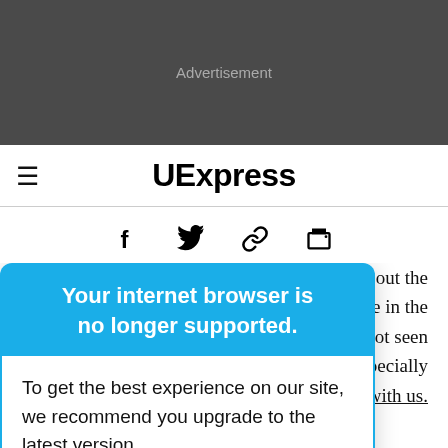[Figure (other): Advertisement banner — dark gray background with 'Advertisement' label in gray text]
UExpress
[Figure (other): Social sharing icons: Facebook (f), Twitter bird, link/chain, printer]
Your internet browser is no longer supported. To get the best experience on our site, we recommend you upgrade to the latest version.
taking out the ame in the ave not seen d, especially because things did not end well with us. He could not